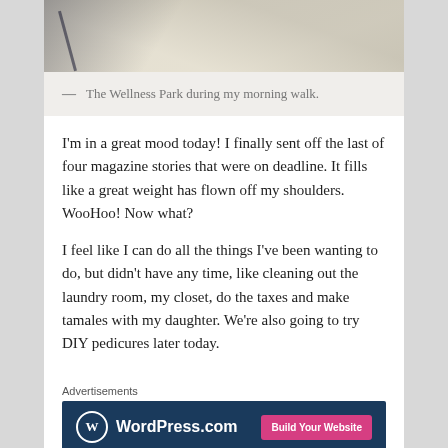[Figure (photo): Partial photo of the Wellness Park, showing a light-colored surface with diagonal lines/shadows, cropped at top]
— The Wellness Park during my morning walk.
I'm in a great mood today! I finally sent off the last of four magazine stories that were on deadline. It fills like a great weight has flown off my shoulders. WooHoo! Now what?
I feel like I can do all the things I've been wanting to do, but didn't have any time, like cleaning out the laundry room, my closet, do the taxes and make tamales with my daughter. We're also going to try DIY pedicures later today.
Advertisements
[Figure (screenshot): WordPress.com advertisement banner with 'Build Your Website' button]